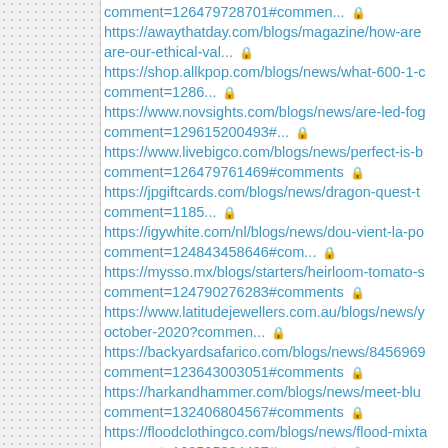comment=126479728701#commen... 🔒 https://awaythatday.com/blogs/magazine/how-are-our-ethical-val... 🔒
https://shop.allkpop.com/blogs/news/what-600-1-c comment=1286... 🔒
https://www.novsights.com/blogs/news/are-led-fog comment=129615200493#... 🔒
https://www.livebigco.com/blogs/news/perfect-is-b comment=126479761469#comments 🔒
https://jpgiftcards.com/blogs/news/dragon-quest-t comment=1185... 🔒
https://igywhite.com/nl/blogs/news/dou-vient-la-po comment=124843458646#com... 🔒
https://mysso.mx/blogs/starters/heirloom-tomato-s comment=124790276283#comments 🔒
https://www.latitudejewellers.com.au/blogs/news/y october-2020?commen... 🔒
https://backyardsafarico.com/blogs/news/8456969 comment=123643003051#comments 🔒
https://harkandhammer.com/blogs/news/meet-blu comment=132406804567#comments 🔒
https://floodclothingco.com/blogs/news/flood-mixta comment=120525324427#comments 🔒
https://www.solo-mia.co.uk/blogs/news/meet-the-r comment=129507983578#comments 🔒